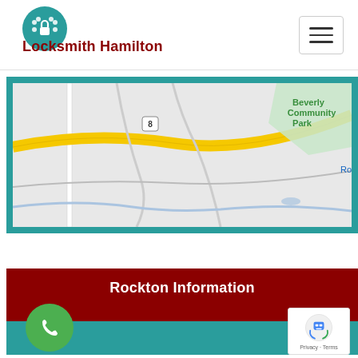[Figure (logo): Locksmith Hamilton circular teal logo with lock and decorative elements]
Locksmith Hamilton
[Figure (map): Google Maps screenshot showing road map with Beverly Community Park labeled, highway route 8, yellow main road diagonal, gray road network on light background]
Rockton Information
[Figure (illustration): Green phone/call circle button icon]
[Figure (other): Google reCAPTCHA badge with robot logo and Privacy - Terms text]